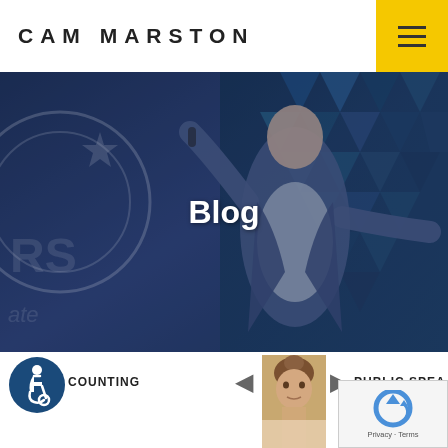CAM MARSTON
[Figure (photo): Man in blue suit speaking on stage with arms outstretched, blue geometric backdrop with star/gear graphics]
Blog
[Figure (logo): Accessibility icon - wheelchair user in blue circle]
COUNTING
[Figure (photo): Woman with updo hairstyle, partial view]
PUBLIC SPEA
[Figure (other): reCAPTCHA widget with Privacy and Terms links]